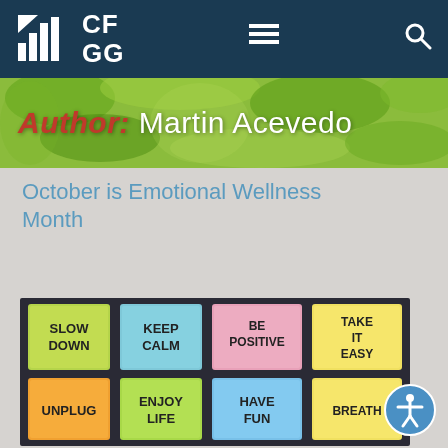[Figure (logo): CFGG logo with bar chart icon in white on dark navy background, with hamburger menu and search icon]
[Figure (photo): Author banner with green leafy background and text: Author: Martin Acevedo]
October is Emotional Wellness Month
[Figure (photo): Photo of colorful sticky notes on dark background with motivational phrases: SLOW DOWN, KEEP CALM, BE POSITIVE, TAKE IT EASY, UNPLUG, ENJOY LIFE, HAVE FUN, BREATHE]